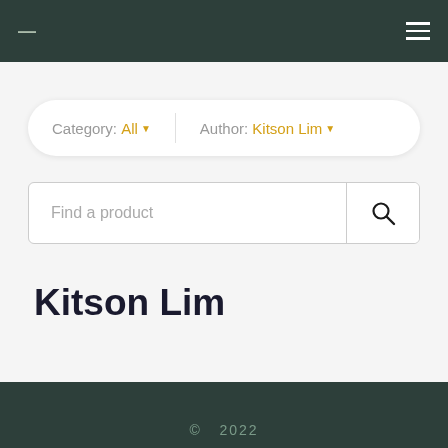— ☰
Category: All ▼   Author: Kitson Lim ▼
Find a product 🔍
Kitson Lim
© 2022